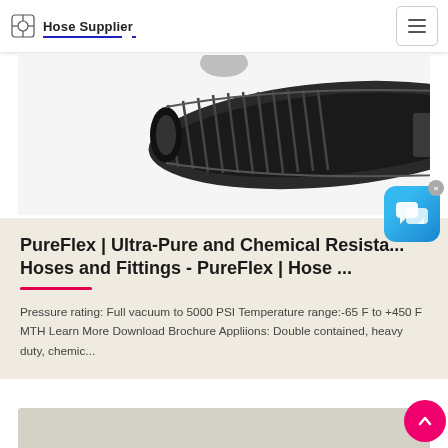Hose Supplier
[Figure (photo): Close-up photo of a dark corrugated industrial hose / pipe]
[Figure (illustration): Chat widget with speech bubble icon in blue gradient, with X close button]
PureFlex | Ultra-Pure and Chemical Resistant Hoses and Fittings - PureFlex | Hose ...
Pressure rating: Full vacuum to 5000 PSI Temperature range:-65 F to +450 F MTH Learn More Download Brochure Appliions: Double contained, heavy duty, chemic...
[Figure (photo): Partial view of another product card at bottom of page]